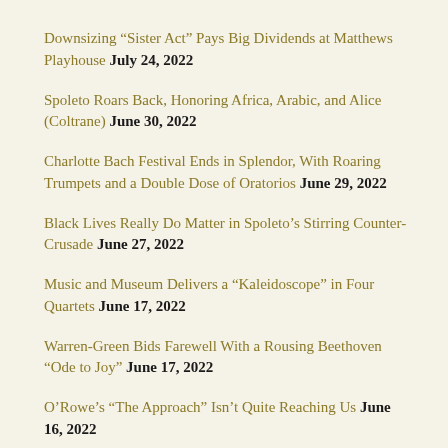Downsizing “Sister Act” Pays Big Dividends at Matthews Playhouse July 24, 2022
Spoleto Roars Back, Honoring Africa, Arabic, and Alice (Coltrane) June 30, 2022
Charlotte Bach Festival Ends in Splendor, With Roaring Trumpets and a Double Dose of Oratorios June 29, 2022
Black Lives Really Do Matter in Spoleto’s Stirring Counter-Crusade June 27, 2022
Music and Museum Delivers a “Kaleidoscope” in Four Quartets June 17, 2022
Warren-Green Bids Farewell With a Rousing Beethoven “Ode to Joy” June 17, 2022
O’Rowe’s “The Approach” Isn’t Quite Reaching Us June 16, 2022
“Until the Flood” Overflows With Inner City Insights June 15, 2022
Choreographic Lab Distills Inventiveness and Energy May 23,